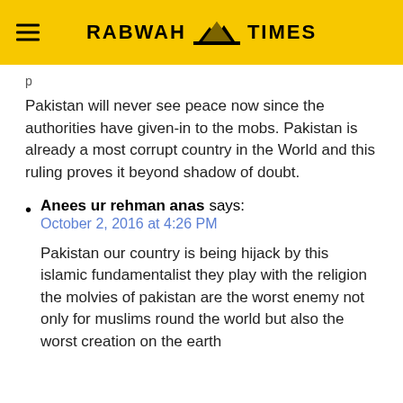RABWAH TIMES
Pakistan will never see peace now since the authorities have given-in to the mobs. Pakistan is already a most corrupt country in the World and this ruling proves it beyond shadow of doubt.
Anees ur rehman anas says:
October 2, 2016 at 4:26 PM

Pakistan our country is being hijack by this islamic fundamentalist they play with the religion the molvies of pakistan are the worst enemy not only for muslims round the world but also the worst creation on the earth